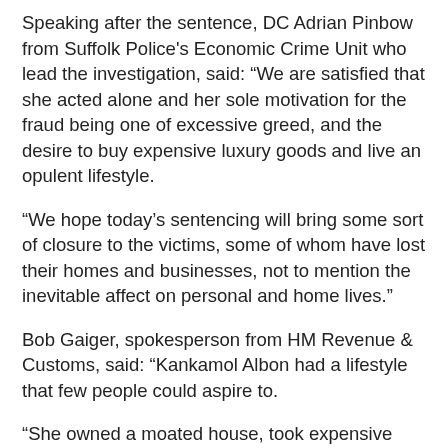Speaking after the sentence, DC Adrian Pinbow from Suffolk Police's Economic Crime Unit who lead the investigation, said: “We are satisfied that she acted alone and her sole motivation for the fraud being one of excessive greed, and the desire to buy expensive luxury goods and live an opulent lifestyle.
“We hope today’s sentencing will bring some sort of closure to the victims, some of whom have lost their homes and businesses, not to mention the inevitable affect on personal and home lives.”
Bob Gaiger, spokesperson from HM Revenue & Customs, said: “Kankamol Albon had a lifestyle that few people could aspire to.
“She owned a moated house, took expensive foreign holidays and sent her children to private schools.
“This lifestyle was paid for at the expense of...